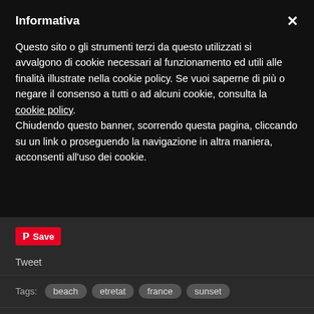Informativa
Questo sito o gli strumenti terzi da questo utilizzati si avvalgono di cookie necessari al funzionamento ed utili alle finalità illustrate nella cookie policy. Se vuoi saperne di più o negare il consenso a tutti o ad alcuni cookie, consulta la cookie policy.
Chiudendo questo banner, scorrendo questa pagina, cliccando su un link o proseguendo la navigazione in altra maniera, acconsenti all'uso dei cookie.
Save
Tweet
Tags: beach etretat france sunset
16  Mont Saint Michel – Horizons